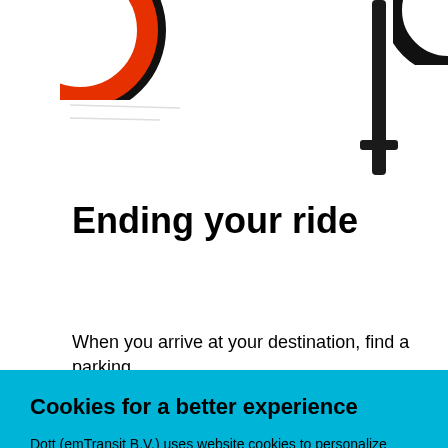[Figure (photo): Partial view of a scooter or bicycle with red and black elements, cropped at top of page, showing handlebars and wheel segments against white background.]
Ending your ride
When you arrive at your destination, find a parking
Cookies for a better experience
Dott (emTransit B.V.) uses website cookies to personalize content, features, and to analyze traffic. Some third parties we work with may also set cookies on our website. Read our full Cookie Notice for all the details. You can always update which cookies you allow in the Settings.
Settings  Accept